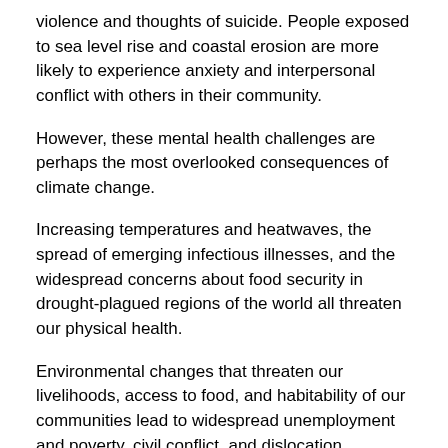violence and thoughts of suicide. People exposed to sea level rise and coastal erosion are more likely to experience anxiety and interpersonal conflict with others in their community.
However, these mental health challenges are perhaps the most overlooked consequences of climate change.
Increasing temperatures and heatwaves, the spread of emerging infectious illnesses, and the widespread concerns about food security in drought-plagued regions of the world all threaten our physical health.
Environmental changes that threaten our livelihoods, access to food, and habitability of our communities lead to widespread unemployment and poverty, civil conflict, and dislocation.
“Climigrants”